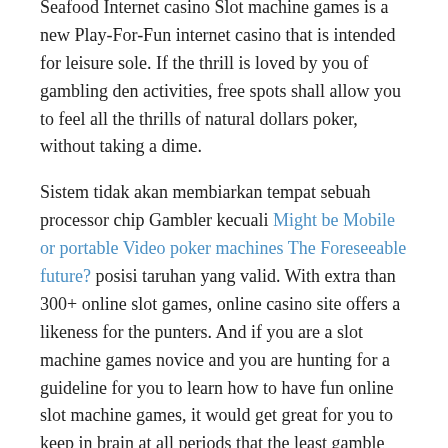Seafood Internet casino Slot machine games is a new Play-For-Fun internet casino that is intended for leisure sole. If the thrill is loved by you of gambling den activities, free spots shall allow you to feel all the thrills of natural dollars poker, without taking a dime.
Sistem tidak akan membiarkan tempat sebuah processor chip Gambler kecuali Might be Mobile or portable Video poker machines The Foreseeable future? posisi taruhan yang valid. With extra than 300+ online slot games, online casino site offers a likeness for the punters. And if you are a slot machine games novice and you are hunting for a guideline for you to learn how to have fun online slot machine games, it would get great for you to keep in brain at all periods that the least gamble accepted in the video game adjustments from one equipment to the additional and might quickly maneuver in a selection going from a minutes. This is why I state then, in strong terms, that the ANC is trying to manipulate and control the media to only show their point of view and the way they want the South